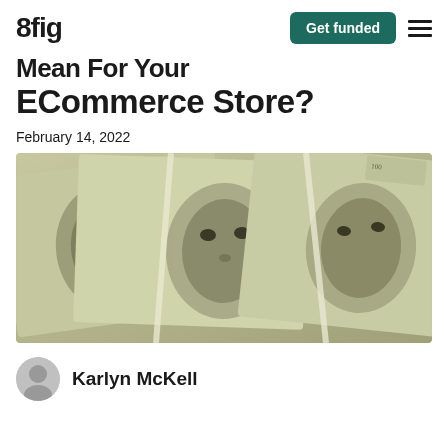8fig
Mean For Your ECommerce Store?
February 14, 2022
[Figure (photo): Close-up macro photograph of multiple US $100 bills fanned out, showing Benjamin Franklin's portrait in sepia/green tones]
Karlyn McKell